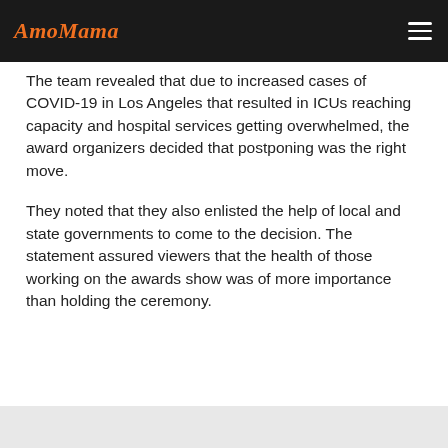AmoMama
The team revealed that due to increased cases of COVID-19 in Los Angeles that resulted in ICUs reaching capacity and hospital services getting overwhelmed, the award organizers decided that postponing was the right move.
They noted that they also enlisted the help of local and state governments to come to the decision. The statement assured viewers that the health of those working on the awards show was of more importance than holding the ceremony.